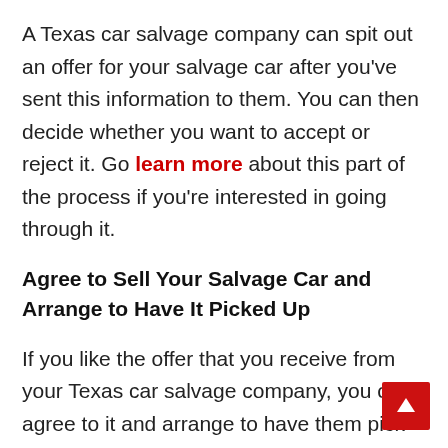A Texas car salvage company can spit out an offer for your salvage car after you've sent this information to them. You can then decide whether you want to accept or reject it. Go learn more about this part of the process if you're interested in going through it.
Agree to Sell Your Salvage Car and Arrange to Have It Picked Up
If you like the offer that you receive from your Texas car salvage company, you can agree to it and arrange to have them pick your salvage car up from you. They'll come straight to your home or business to get it and leave you with cash as promised.